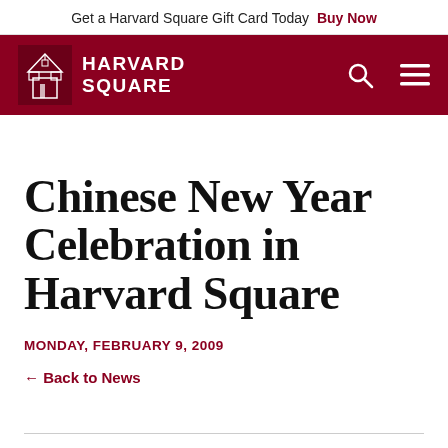Get a Harvard Square Gift Card Today  Buy Now
[Figure (logo): Harvard Square logo with crimson background, building icon and white text reading HARVARD SQUARE, with search and menu icons on the right]
Chinese New Year Celebration in Harvard Square
MONDAY, FEBRUARY 9, 2009
← Back to News